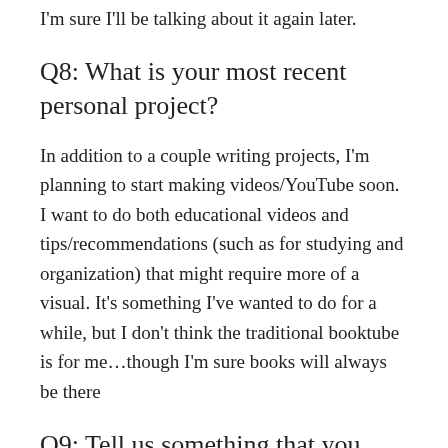I'm sure I'll be talking about it again later.
Q8: What is your most recent personal project?
In addition to a couple writing projects, I'm planning to start making videos/YouTube soon. I want to do both educational videos and tips/recommendations (such as for studying and organization) that might require more of a visual. It's something I've wanted to do for a while, but I don't think the traditional booktube is for me…though I'm sure books will always be there
Q9: Tell us something that you think of often
Right now, FALSETTOS (see #8 above. Also